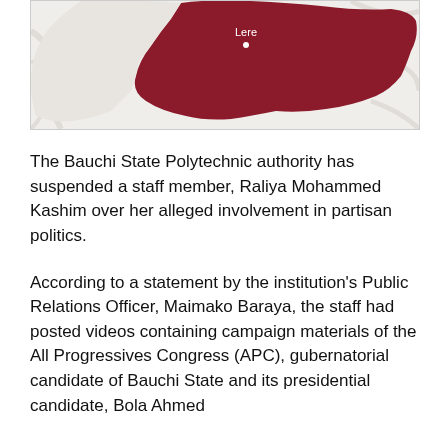[Figure (map): Map showing Lere local government area highlighted in dark red/maroon within Bauchi State, Nigeria. The Lere label with a dot marker is visible on the map.]
The Bauchi State Polytechnic authority has suspended a staff member, Raliya Mohammed Kashim over her alleged involvement in partisan politics.
According to a statement by the institution's Public Relations Officer, Maimako Baraya, the staff had posted videos containing campaign materials of the All Progressives Congress (APC), gubernatorial candidate of Bauchi State and its presidential candidate, Bola Ahmed